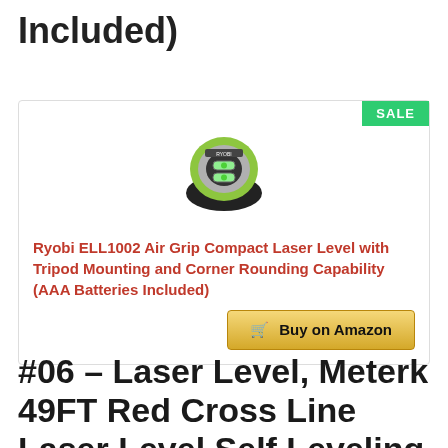Included)
[Figure (photo): Ryobi ELL1002 Air Grip Compact Laser Level product photo with SALE badge]
Ryobi ELL1002 Air Grip Compact Laser Level with Tripod Mounting and Corner Rounding Capability (AAA Batteries Included)
Buy on Amazon
#06 – Laser Level, Meterk 49FT Red Cross Line Laser Level Self Leveling with Brightness Adjustment and